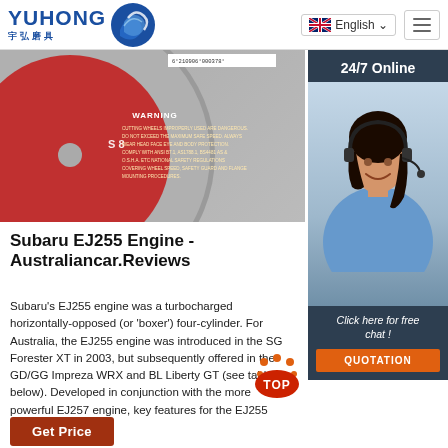YUHONG 宇弘磨具 | English | Menu
[Figure (photo): Partial view of a red and grey grinding/cutting wheel with WARNING label listing safety instructions, and a barcode '6°210906°000378°']
[Figure (photo): 24/7 Online customer service agent - woman with headset smiling, with 'Click here for free chat!' text and orange QUOTATION button]
Subaru EJ255 Engine - Australiancar.Reviews
Subaru's EJ255 engine was a turbocharged horizontally-opposed (or 'boxer') four-cylinder. For Australia, the EJ255 engine was introduced in the SG Forester XT in 2003, but subsequently offered in the GD/GG Impreza WRX and BL Liberty GT (see table below). Developed in conjunction with the more powerful EJ257 engine, key features for the EJ255 engine included its:
[Figure (other): Red 'TOP' back-to-top button with decorative dots]
Get Price